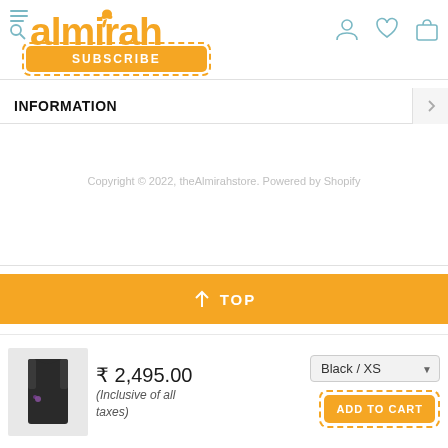[Figure (logo): Almirah brand logo in orange stylized text with elephant icon]
SUBSCRIBE
INFORMATION
Copyright © 2022, theAlmirahstore. Powered by Shopify
↑ TOP
₹ 2,495.00
(Inclusive of all taxes)
Black / XS
ADD TO CART